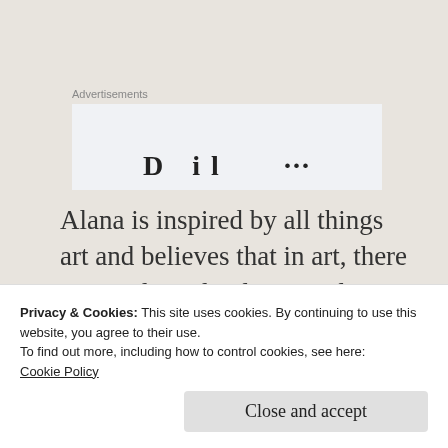Advertisements
[Figure (other): Advertisement banner box with partial text visible at the bottom]
Alana is inspired by all things art and believes that in art, there is exactly and only one rule: “There are no rules!” Her favorite motto is: “The best artists are children!” and “True artists never grow
Privacy & Cookies: This site uses cookies. By continuing to use this website, you agree to their use.
To find out more, including how to control cookies, see here:
Cookie Policy
Close and accept
furniture, portraiture, fashion,